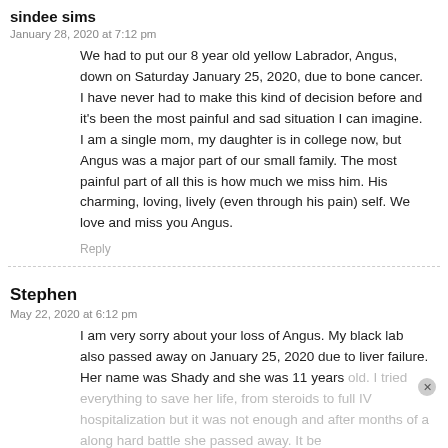sindee sims
January 28, 2020 at 7:12 pm
We had to put our 8 year old yellow Labrador, Angus, down on Saturday January 25, 2020, due to bone cancer. I have never had to make this kind of decision before and it's been the most painful and sad situation I can imagine. I am a single mom, my daughter is in college now, but Angus was a major part of our small family. The most painful part of all this is how much we miss him. His charming, loving, lively (even through his pain) self. We love and miss you Angus.
Reply
Stephen
May 22, 2020 at 6:12 pm
I am very sorry about your loss of Angus. My black lab also passed away on January 25, 2020 due to liver failure. Her name was Shady and she was 11 years old. I tried everything to save her life, from steroids to full IV hospitalization but it was not enough and after months of a along hard battle she passed away. It be